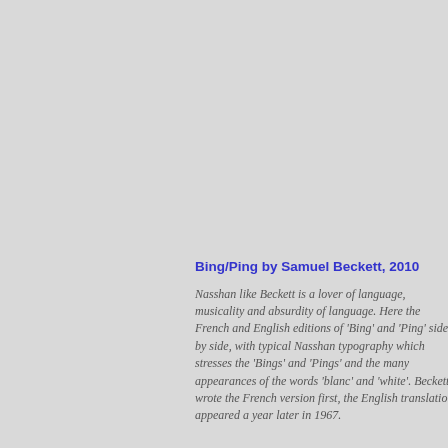Bing/Ping by Samuel Beckett, 2010
Nasshan like Beckett is a lover of language, musicality and absurdity of language. Here the French and English editions of 'Bing' and 'Ping' side by side, with typical Nasshan typography which stresses the 'Bings' and 'Pings' and the many appearances of the words 'blanc' and 'white'. Beckett wrote the French version first, the English translation appeared a year later in 1967.